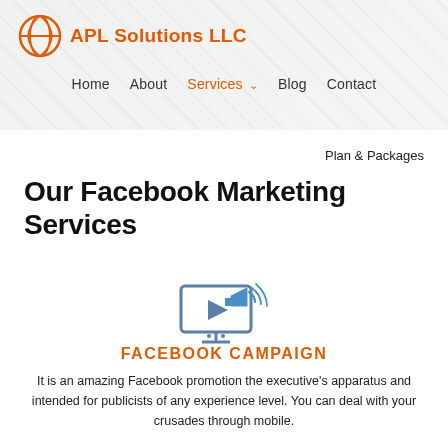APL Solutions LLC
Home   About   Services   Blog   Contact
Plan & Packages
Our Facebook Marketing Services
[Figure (illustration): Icon of a computer monitor with a play button and a megaphone/bullhorn in blue, representing video/campaign advertising]
FACEBOOK CAMPAIGN
It is an amazing Facebook promotion the executive's apparatus and intended for publicists of any experience level. You can deal with your crusades through mobile.